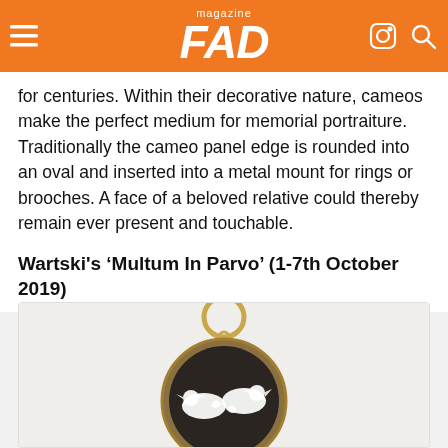FAD magazine
contrast, their siblings are executed in low relief and have been used as seals to authenticate authority for centuries. Within their decorative nature, cameos make the perfect medium for memorial portraiture. Traditionally the cameo panel edge is rounded into an oval and inserted into a metal mount for rings or brooches. A face of a beloved relative could thereby remain ever present and touchable.
Wartski's ‘Multum In Parvo’ (1-7th October 2019)
[Figure (photo): A circular cameo pendant with gold ring mount at top, showing white carved figures (two doves or birds) on a dark oval stone background, set in a bronze/gold circular frame.]